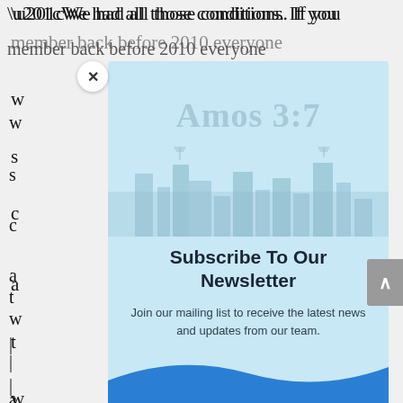“We had all those conditions. If you remember back before 2010 everyone was...
[Figure (screenshot): Newsletter subscription popup overlay with light blue background, Amos 3:7 logo watermark, close (X) button, title 'Subscribe To Our Newsletter', body text 'Join our mailing list to receive the latest news and updates from our team.', and blue wave at the bottom. A gray scroll-to-top arrow button appears on the right edge.]